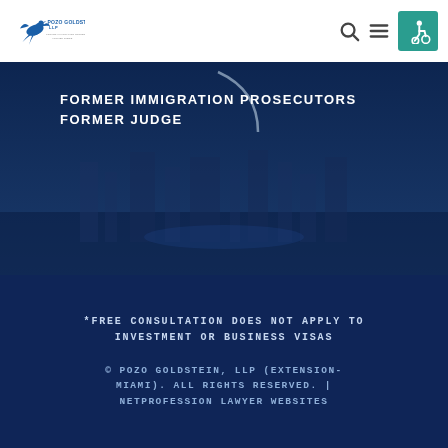[Figure (logo): Pozo Goldstein LLP law firm logo with bird graphic and tagline]
[Figure (photo): Dark blue hero banner with text FORMER IMMIGRATION PROSECUTORS FORMER JUDGE overlaid on a city/harbor background]
FORMER IMMIGRATION PROSECUTORS
FORMER JUDGE
*FREE CONSULTATION DOES NOT APPLY TO INVESTMENT OR BUSINESS VISAS
© POZO GOLDSTEIN, LLP (EXTENSION-MIAMI). ALL RIGHTS RESERVED. | NETPROFESSION LAWYER WEBSITES